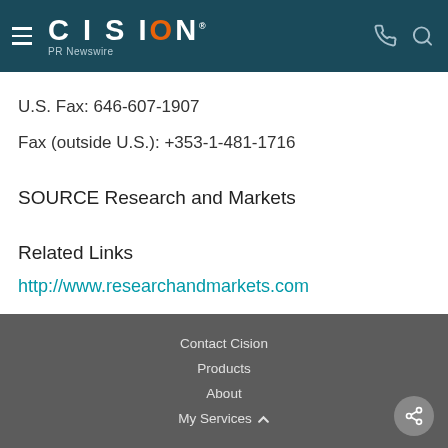CISION PR Newswire
U.S. Fax: 646-607-1907
Fax (outside U.S.): +353-1-481-1716
SOURCE Research and Markets
Related Links
http://www.researchandmarkets.com
Contact Cision
Products
About
My Services